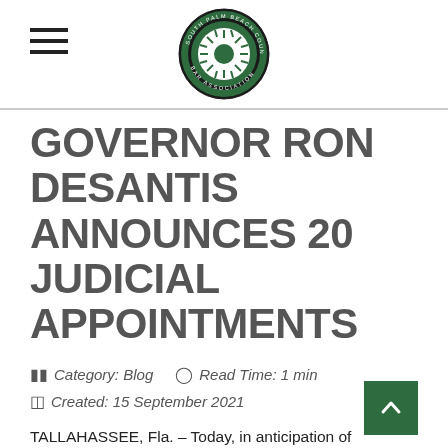[Figure (logo): South Palm Beach County Bar Association circular logo with green border and white emblem on dark green background, centered in header]
GOVERNOR RON DESANTIS ANNOUNCES 20 JUDICIAL APPOINTMENTS
Category: Blog   Read Time: 1 min   Created: 15 September 2021
TALLAHASSEE, Fla. – Today, in anticipation of Constitution